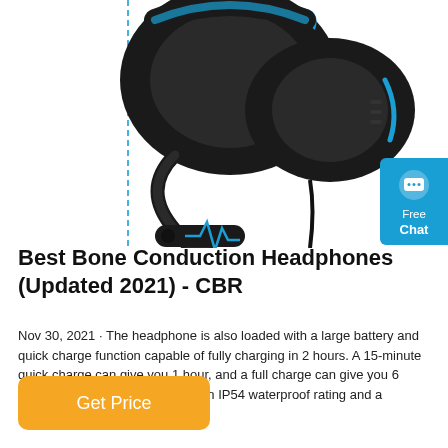[Figure (photo): A black and blue gaming headphone/headset photographed from below showing the microphone boom and ear cups with blue accents and a heartbeat line design on the mic arm.]
Best Bone Conduction Headphones (Updated 2021) - CBR
Nov 30, 2021 · The headphone is also loaded with a large battery and quick charge function capable of fully charging in 2 hours. A 15-minute quick charge can give you 1 hour, and a full charge can give you 6 hours of music and 8 hoursude an IP54 waterproof rating and a titanium body forfortable wearing.
Get Price